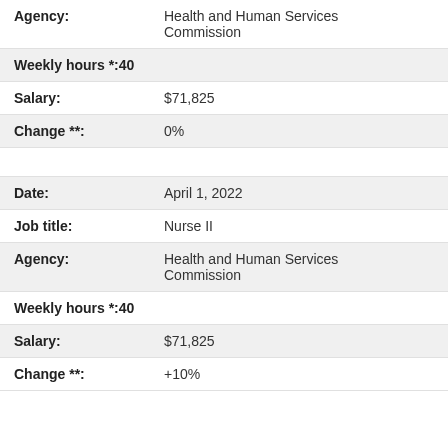Agency: Health and Human Services Commission
Weekly hours *: 40
Salary: $71,825
Change **: 0%
Date: April 1, 2022
Job title: Nurse II
Agency: Health and Human Services Commission
Weekly hours *: 40
Salary: $71,825
Change **: +10%